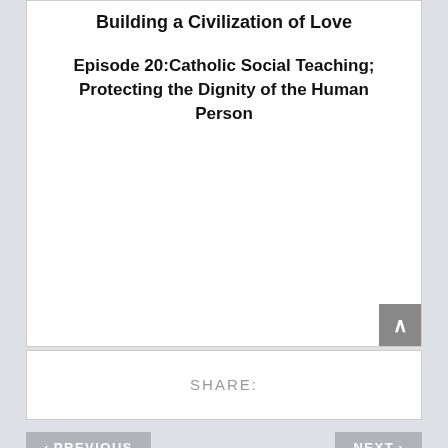Building a Civilization of Love
Episode 20:Catholic Social Teaching; Protecting the Dignity of the Human Person
SHARE:
< PREVIOUS   NEXT >